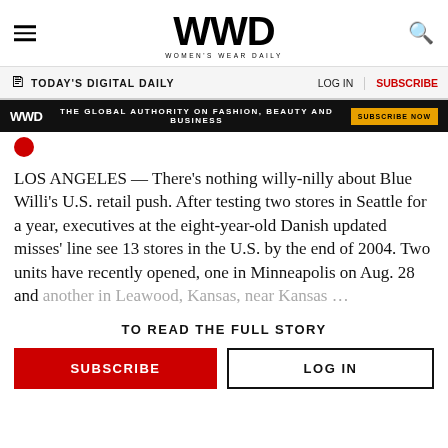WWD WOMEN'S WEAR DAILY
TODAY'S DIGITAL DAILY | LOG IN | SUBSCRIBE
[Figure (other): WWD ad banner: THE GLOBAL AUTHORITY ON FASHION, BEAUTY AND BUSINESS | SUBSCRIBE NOW]
LOS ANGELES — There's nothing willy-nilly about Blue Willi's U.S. retail push. After testing two stores in Seattle for a year, executives at the eight-year-old Danish updated misses' line see 13 stores in the U.S. by the end of 2004. Two units have recently opened, one in Minneapolis on Aug. 28 and another in Leawood, Kansas, near Kansas …
TO READ THE FULL STORY
SUBSCRIBE | LOG IN